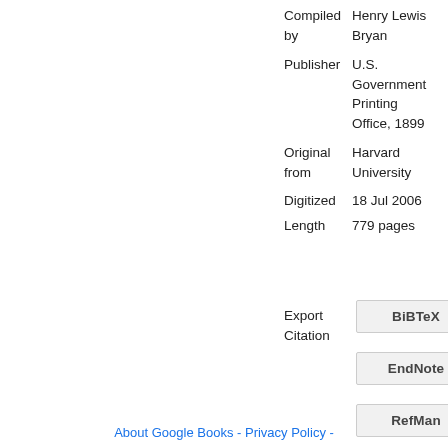| Compiled by | Henry Lewis Bryan |
| Publisher | U.S. Government Printing Office, 1899 |
| Original from | Harvard University |
| Digitized | 18 Jul 2006 |
| Length | 779 pages |
Export Citation
BiBTeX
EndNote
RefMan
About Google Books - Privacy Policy -